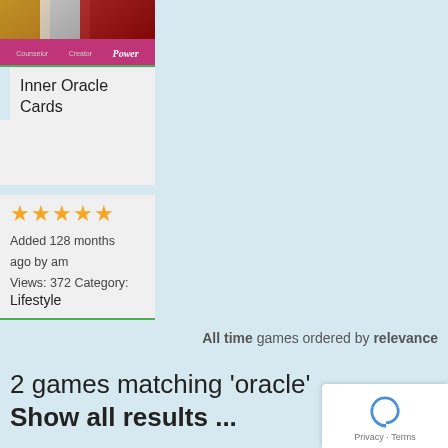[Figure (screenshot): App card image for Inner Oracle Cards showing colorful card artwork with text 'Creator' and 'Power' and a pink banner at the bottom]
Inner Oracle Cards
[Figure (other): 5 gold stars rating]
Added 128 months ago by am
Views: 372 Category:
Lifestyle
All time games ordered by relevance
2 games matching 'oracle' Show all results ...
[Figure (logo): Google reCAPTCHA badge with Privacy and Terms links]